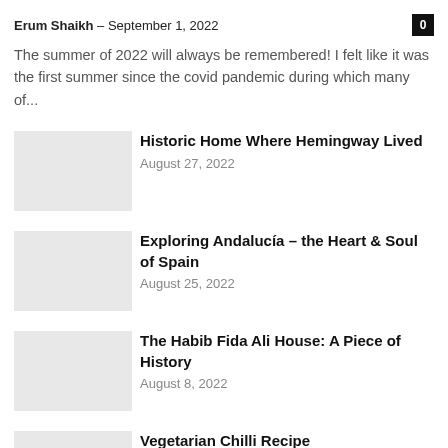Erum Shaikh – September 1, 2022
The summer of 2022 will always be remembered! I felt like it was the first summer since the covid pandemic during which many of...
Historic Home Where Hemingway Lived
August 27, 2022
Exploring Andalucía – the Heart & Soul of Spain
August 25, 2022
The Habib Fida Ali House: A Piece of History
August 8, 2022
Vegetarian Chilli Recipe
August 7, 2022